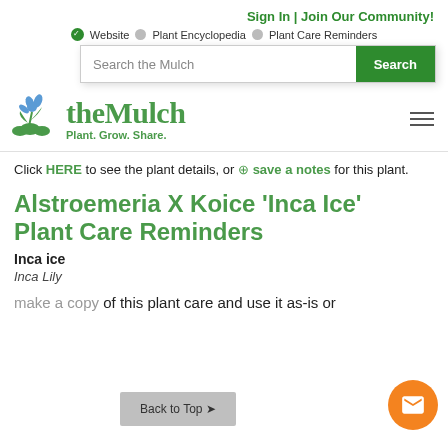Sign In | Join Our Community!
✓ Website  ● Plant Encyclopedia  ● Plant Care Reminders
Search the Mulch [Search]
[Figure (logo): theMulch logo with flower and plant graphic. Text: theMulch Plant. Grow. Share.]
Click HERE to see the plant details, or ⊕ save a notes for this plant.
Alstroemeria X Koice 'Inca Ice' Plant Care Reminders
Inca ice
Inca Lily
Make a copy of this plant care and use it as-is or